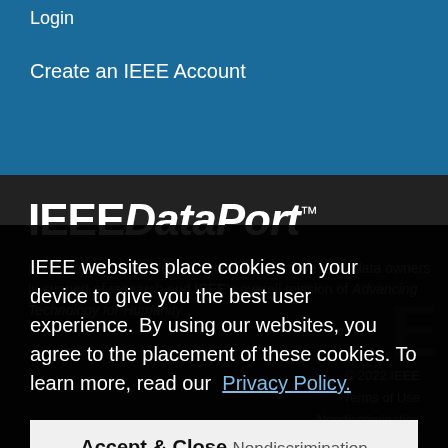Login
Create an IEEE Account
IEEEDataPort™
IEEE DataPort provides a sustainable platform to all data owners in support of research and IEEE's overall mission of Advancing Technology for Humanity.
IEEE websites place cookies on your device to give you the best user experience. By using our websites, you agree to the placement of these cookies. To learn more, read our Privacy Policy.
Accept & Close
© 2022 IEEE
Terms of Use
Nondiscrimination
Privacy Policy